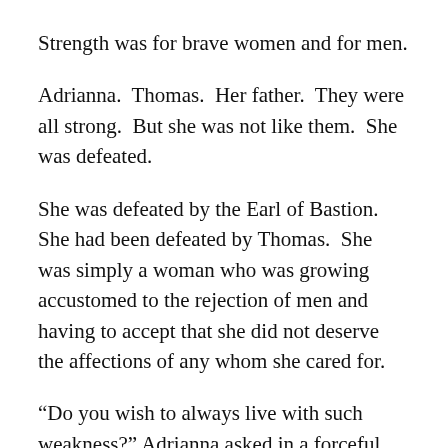Strength was for brave women and for men.
Adrianna.  Thomas.  Her father.  They were all strong.  But she was not like them.  She was defeated.
She was defeated by the Earl of Bastion.  She had been defeated by Thomas.  She was simply a woman who was growing accustomed to the rejection of men and having to accept that she did not deserve the affections of any whom she cared for.
“Do you wish to always live with such weakness?” Adrianna asked in a forceful way, making Sophia recognise the sadness of her